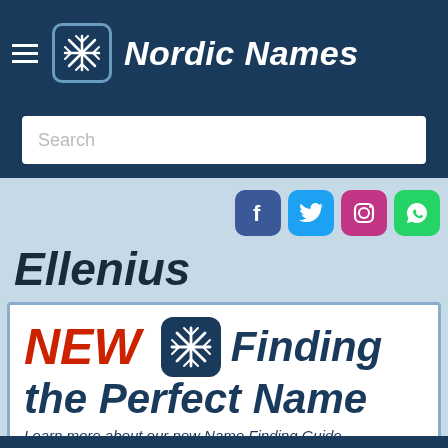Nordic Names
[Figure (screenshot): Search input field with placeholder text 'Search']
[Figure (infographic): Social media icons: Facebook, Twitter, Instagram, WhatsApp]
Ellenius
[Figure (infographic): Banner advertisement: NEW — Finding the Perfect Name. Learn more about our new Name Finding Guide]